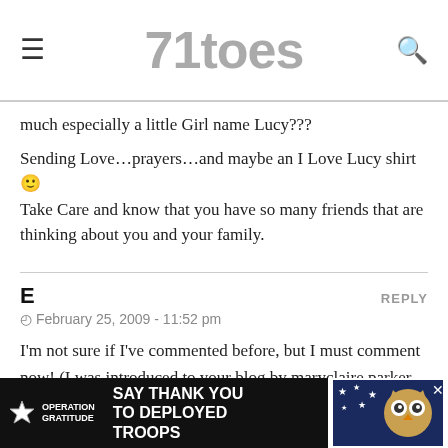71toes
much especially a little Girl name Lucy??? Sending Love…prayers…and maybe an I Love Lucy shirt 🙂 Take Care and know that you have so many friends that are thinking about you and your family.
E
February 25, 2009 - 11:52 pm
I'm not sure if I've commented before, but I must comment now! (I was introduced to your blog by maryclaire parker and am in chris/sam pothier's ward).

anyway, I just wanted to say that it's a priviledge to read your blo...
[Figure (screenshot): Advertisement banner for Operation Gratitude: 'Say Thank You to Deployed Troops' on dark background with a cartoon owl mascot on the right side.]